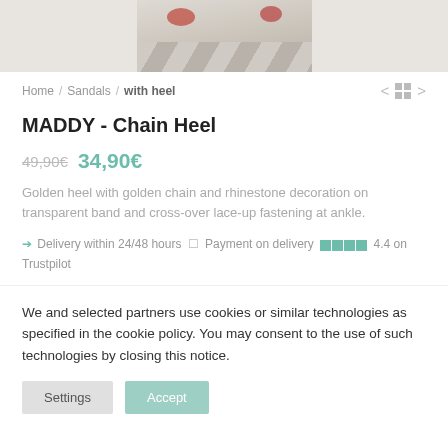[Figure (photo): Partial product photo showing sandals on a striped background, cropped at top]
Home / Sandals / with heel
MADDY - Chain Heel
49,90€  34,90€
Golden heel with golden chain and rhinestone decoration on transparent band and cross-over lace-up fastening at ankle.
→ Delivery within 24/48 hours □ Payment on delivery ☰☰☰☰ 4.4 on Trustpilot
We and selected partners use cookies or similar technologies as specified in the cookie policy. You may consent to the use of such technologies by closing this notice.